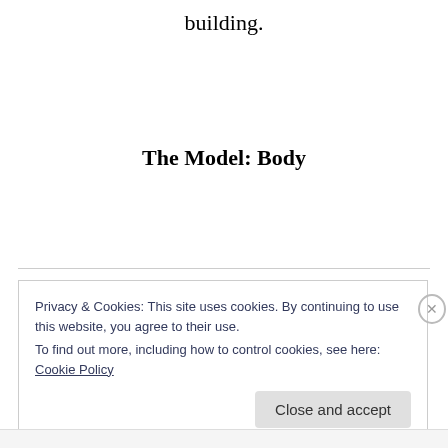building.
The Model: Body
Privacy & Cookies: This site uses cookies. By continuing to use this website, you agree to their use.
To find out more, including how to control cookies, see here: Cookie Policy